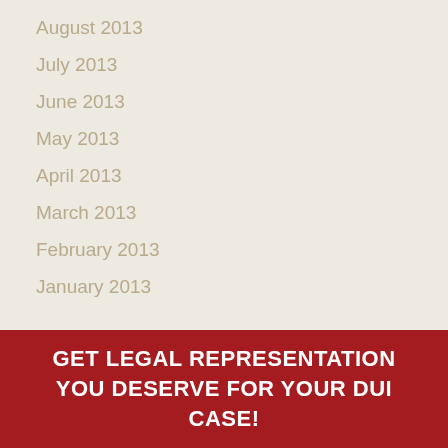August 2013
July 2013
June 2013
May 2013
April 2013
March 2013
February 2013
January 2013
GET LEGAL REPRESENTATION YOU DESERVE FOR YOUR DUI CASE!